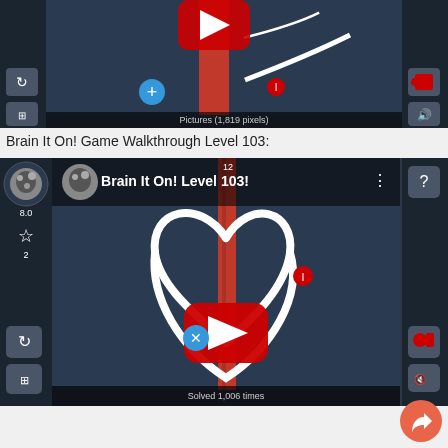[Figure (screenshot): Top screenshot of Brain It On! game level showing a red vertical bar, white curved line, plus button and UI controls on dark background with caption 'Pictures (1,819 pixels)']
Brain It On! Game Walkthrough Level 103:
[Figure (screenshot): YouTube video thumbnail for Brain It On! Level 103 showing a heart shape drawn in white with a red vertical bar, game UI controls, YouTube play button overlay, channel icon, and caption 'Solved 1,006 times']
[Figure (illustration): Orange circular share/forward button in bottom right corner]